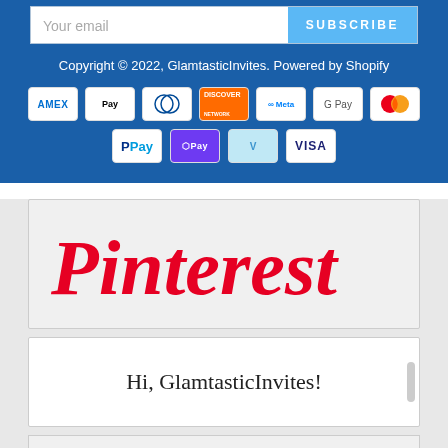Your email
SUBSCRIBE
Copyright © 2022, GlamtasticInvites. Powered by Shopify
[Figure (screenshot): Payment method icons: American Express, Apple Pay, Diners Club, Discover, Meta Pay, Google Pay, Mastercard, PayPal, OPay, Venmo, Visa]
[Figure (logo): Pinterest logo in red italic script font]
Hi, GlamtasticInvites!